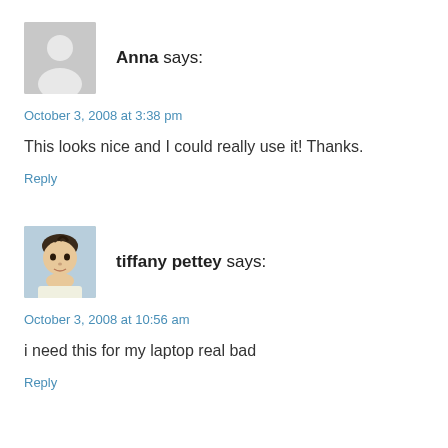[Figure (illustration): Gray placeholder avatar icon with silhouette of a person]
Anna says:
October 3, 2008 at 3:38 pm
This looks nice and I could really use it! Thanks.
Reply
[Figure (photo): Photo of a baby with dark hair against a light blue background]
tiffany pettey says:
October 3, 2008 at 10:56 am
i need this for my laptop real bad
Reply